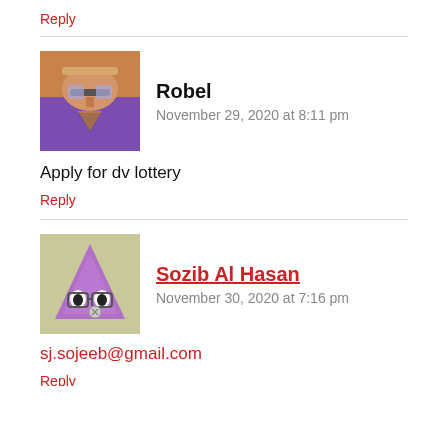Reply
Robel
November 29, 2020 at 8:11 pm
Apply for dv lottery
Reply
Sozib Al Hasan
November 30, 2020 at 7:16 pm
sj.sojeeb@gmail.com
Reply